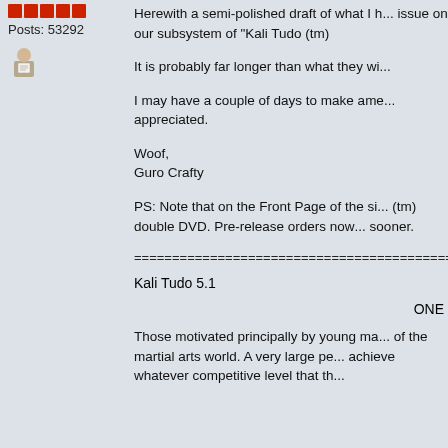[Figure (illustration): Five orange/red star rating icons]
Posts: 53292
[Figure (illustration): User avatar icon (person with document)]
Herewith a semi-polished draft of what I h... issue on our subsystem of "Kali Tudo (tm)"
It is probably far longer than what they wi...
I may have a couple of days to make ame... appreciated.
Woof,
Guro Crafty
PS:  Note that on the Front Page of the si... (tm) double DVD.  Pre-release orders now... sooner.
================================================
Kali Tudo 5.1
ONE
Those motivated principally by young ma... of the martial arts world.  A very large pe... achieve whatever competitive level that th...